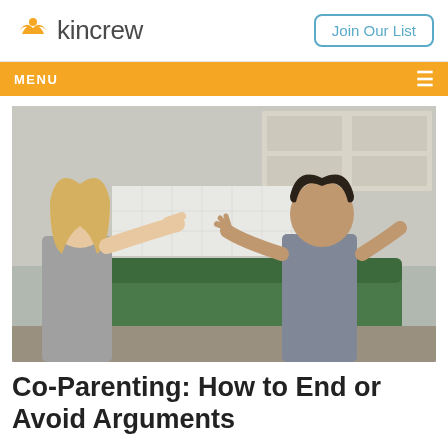kincrew | Join Our List
[Figure (photo): A couple sitting on a green couch in a kitchen setting, having a heated argument. The blonde woman on the left is pointing her finger at the man on the right, who has his hands raised in a defensive gesture.]
Co-Parenting: How to End or Avoid Arguments